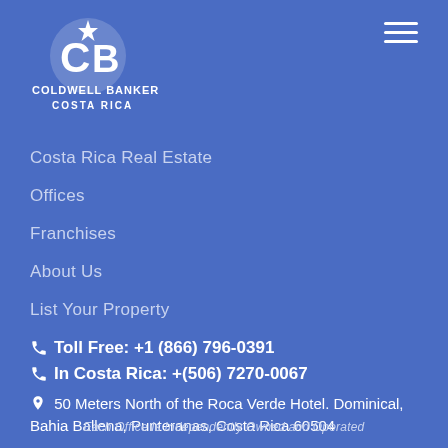[Figure (logo): Coldwell Banker Costa Rica logo — white CB emblem with star, text COLDWELL BANKER above COSTA RICA]
[Figure (other): Hamburger menu icon (three horizontal white lines)]
Costa Rica Real Estate
Offices
Franchises
About Us
List Your Property
Toll Free: +1 (866) 796-0391
In Costa Rica: +(506) 7270-0067
50 Meters North of the Roca Verde Hotel. Dominical, Bahia Ballena, Punteranas, Costa Rica 60504
Each Office Is Independently Owned and Operated